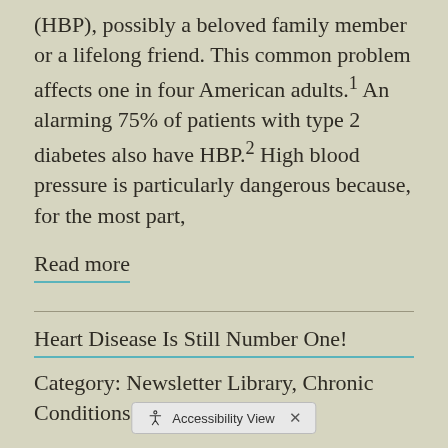(HBP), possibly a beloved family member or a lifelong friend. This common problem affects one in four American adults.1 An alarming 75% of patients with type 2 diabetes also have HBP.2 High blood pressure is particularly dangerous because, for the most part,
Read more
Heart Disease Is Still Number One!
Category: Newsletter Library, Chronic Conditions
According to a recent report, cardiovascular disease claims more lives worldwide than any other disorder.1 Dis... nd blood